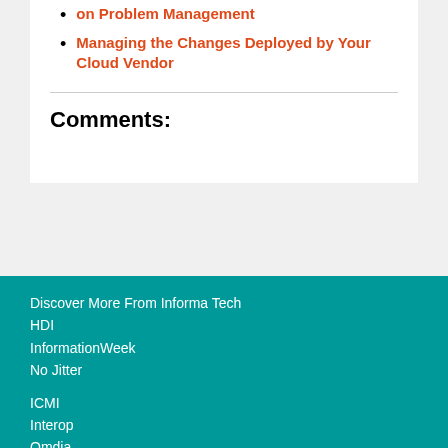on Problem Management
Managing the Changes Deployed by Your Cloud Vendor
Comments:
Discover More From Informa Tech
HDI
InformationWeek
No Jitter

ICMI
Interop
Omdia